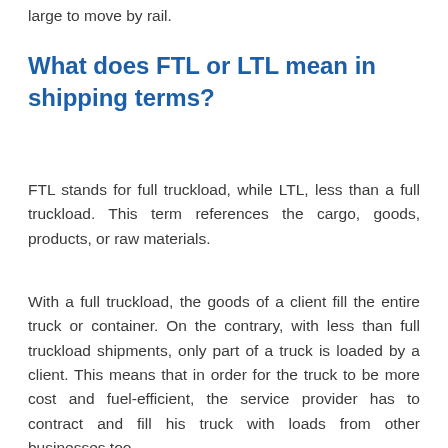large to move by rail.
What does FTL or LTL mean in shipping terms?
FTL stands for full truckload, while LTL, less than a full truckload. This term references the cargo, goods, products, or raw materials.
With a full truckload, the goods of a client fill the entire truck or container. On the contrary, with less than full truckload shipments, only part of a truck is loaded by a client. This means that in order for the truck to be more cost and fuel-efficient, the service provider has to contract and fill his truck with loads from other businesses too.